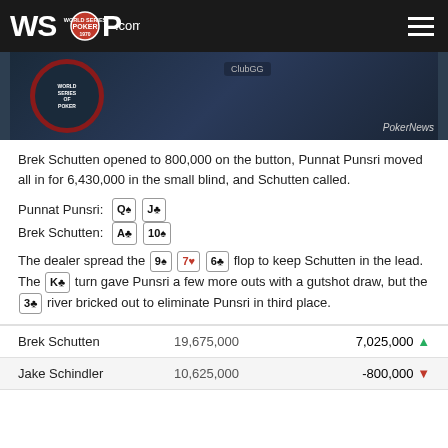WSOP.com
[Figure (photo): Poker table photo with ClubGG branding and PokerNews watermark]
Brek Schutten opened to 800,000 on the button, Punnat Punsri moved all in for 6,430,000 in the small blind, and Schutten called.
Punnat Punsri: Q♠ J♣
Brek Schutten: A♣ 10♠
The dealer spread the 9♠ 7♥ 6♣ flop to keep Schutten in the lead. The K♣ turn gave Punsri a few more outs with a gutshot draw, but the 3♣ river bricked out to eliminate Punsri in third place.
| Player | Chips | Change |
| --- | --- | --- |
| Brek Schutten | 19,675,000 | 7,025,000 ▲ |
| Jake Schindler | 10,625,000 | -800,000 ▼ |